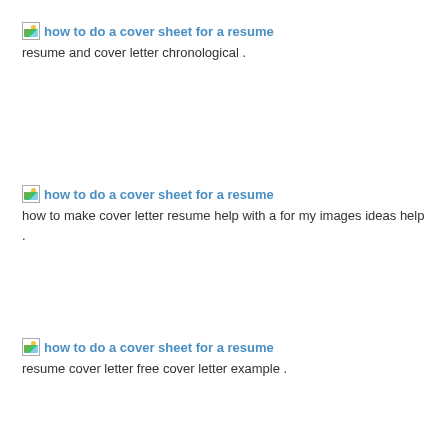[Figure (other): Broken image icon for first entry]
how to do a cover sheet for a resume
resume and cover letter chronological .
[Figure (other): Broken image icon for second entry]
how to do a cover sheet for a resume
how to make cover letter resume help with a for my images ideas help .
[Figure (other): Broken image icon for third entry]
how to do a cover sheet for a resume
resume cover letter free cover letter example .